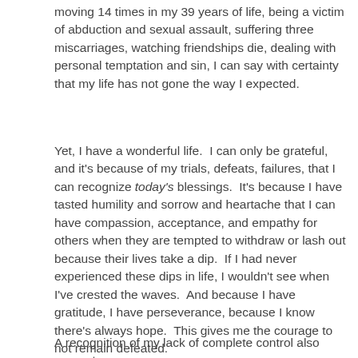moving 14 times in my 39 years of life, being a victim of abduction and sexual assault, suffering three miscarriages, watching friendships die, dealing with personal temptation and sin, I can say with certainty that my life has not gone the way I expected.
Yet, I have a wonderful life.  I can only be grateful, and it's because of my trials, defeats, failures, that I can recognize today's blessings.  It's because I have tasted humility and sorrow and heartache that I can have compassion, acceptance, and empathy for others when they are tempted to withdraw or lash out because their lives take a dip.  If I had never experienced these dips in life, I wouldn't see when I've crested the waves.  And because I have gratitude, I have perseverance, because I know there's always hope.  This gives me the courage to not remain defeated.
A recognition of my lack of complete control also prevents